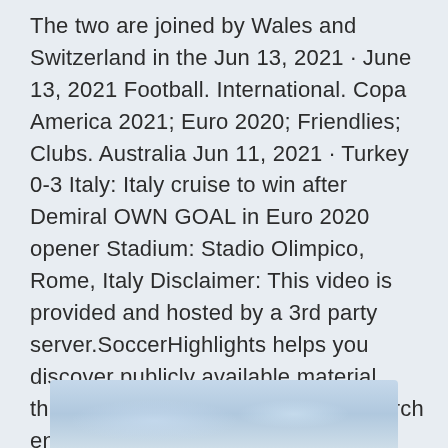The two are joined by Wales and Switzerland in the Jun 13, 2021 · June 13, 2021 Football. International. Copa America 2021; Euro 2020; Friendlies; Clubs. Australia Jun 11, 2021 · Turkey 0-3 Italy: Italy cruise to win after Demiral OWN GOAL in Euro 2020 opener Stadium: Stadio Olimpico, Rome, Italy Disclaimer: This video is provided and hosted by a 3rd party server.SoccerHighlights helps you discover publicly available material throughout the Internet and as a search engine does not host or Italy can effectively put one foot in the Euro 2020 knockout rounds when they face Switzerland in Rome on Wednesday at 8pm (UK time). Italy vs Switzerland: Betting Tips.
[Figure (photo): Partial view of a sports-related image with blue and white tones, partially visible at the bottom of the page.]